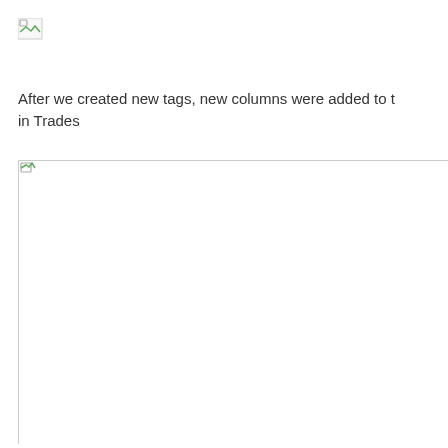[Figure (screenshot): Broken image placeholder icon (small, top-left)]
After we created new tags, new columns were added to t in Trades
[Figure (screenshot): Large broken image placeholder (screenshot of a table or UI)]